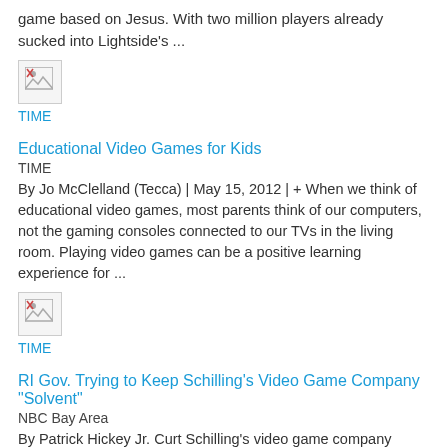game based on Jesus. With two million players already sucked into Lightside's ...
[Figure (other): Broken image thumbnail]
TIME
Educational Video Games for Kids
TIME
By Jo McClelland (Tecca) | May 15, 2012 | + When we think of educational video games, most parents think of our computers, not the gaming consoles connected to our TVs in the living room. Playing video games can be a positive learning experience for ...
[Figure (other): Broken image thumbnail]
TIME
RI Gov. Trying to Keep Schilling's Video Game Company "Solvent"
NBC Bay Area
By Patrick Hickey Jr. Curt Schilling's video game company needs help financially in spite of releasing a good first game. Rhode Island Gov. Lincoln Chafee told WPRO-AM on